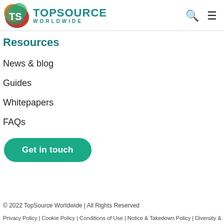TopSource Worldwide
Resources
News & blog
Guides
Whitepapers
FAQs
Get in touch
© 2022 TopSource Worldwide | All Rights Reserved
Privacy Policy | Cookie Policy | Conditions of Use | Notice & Takedown Policy | Diversity &